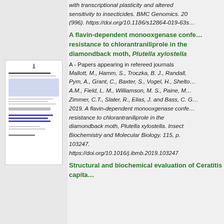with transcriptional plasticity and altered sensitivity to insecticides. BMC Genomics. 20 (996). https://doi.org/10.1186/s12864-019-639…
A flavin-dependent monooxgenase confers resistance to chlorantraniliprole in the diamondback moth, Plutella xylostella
A - Papers appearing in refereed journals
Mallott, M., Hamm, S., Troczka, B. J., Randall, Pym, A., Grant, C., Baxter, S., Vogel, H., Shelton, A.M., Field, L. M., Williamson, M. S., Paine, M., Zimmer, C.T., Slater, R., Elias, J. and Bass, C. G. 2019. A flavin-dependent monooxgenase confers resistance to chlorantraniliprole in the diamondback moth, Plutella xylostella. Insect Biochemistry and Molecular Biology. 115, p. 103247. https://doi.org/10.1016/j.ibmb.2019.103247
Structural and biochemical evaluation of Ceratitis capita…